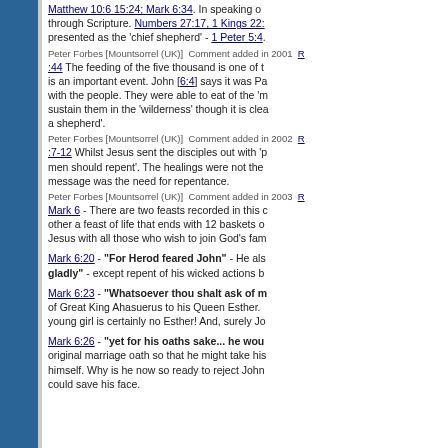Matthew 10:6 15:24; Mark 6:34. In speaking of through Scripture. Numbers 27:17, 1 Kings 22: presented as the 'chief shepherd' - 1 Peter 5:4.
Peter Forbes [Mountsorrel (UK)] Comment added in 2001
:44 The feeding of the five thousand is one of the is an important event. John [6:4] says it was Pa with the people. They were able to eat of the 'm sustain them in the 'wilderness' though it is clea a shepherd'.
Peter Forbes [Mountsorrel (UK)] Comment added in 2002
:7-12 Whilst Jesus sent the disciples out with 'p men should repent'. The healings were not the message was the need for repentance.
Peter Forbes [Mountsorrel (UK)] Comment added in 2003
Mark 6 - There are two feasts recorded in this c other a feast of life that ends with 12 baskets o Jesus with all those who wish to join God's fam
Mark 6:20 - "For Herod feared John" - He als gladly" - except repent of his wicked actions b
Mark 6:23 - "Whatsoever thou shalt ask of m of Great King Ahasuerus to his Queen Esther. young girl is certainly no Esther! And, surely Jo
Mark 6:26 - "yet for his oaths sake... he wou original marriage oath so that he might take his himself. Why is he now so ready to reject John could save his face.